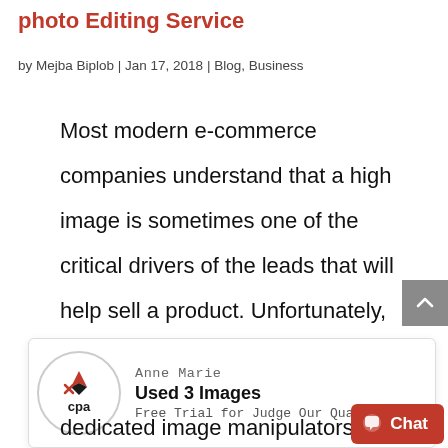photo Editing Service
by Mejba Biplob | Jan 17, 2018 | Blog, Business
Most modern e-commerce companies understand that a high image is sometimes one of the critical drivers of the leads that will help sell a product. Unfortunately, most businesses, whether they are small and large, don't have the staff to dedicated image manipulators like
[Figure (logo): CPA logo in a circle with Anne Marie popup showing 'Used 3 Images' and 'Free Trial for Judge Our Quality']
[Figure (other): Red chat button with speech bubble icon and 'Chat' text]